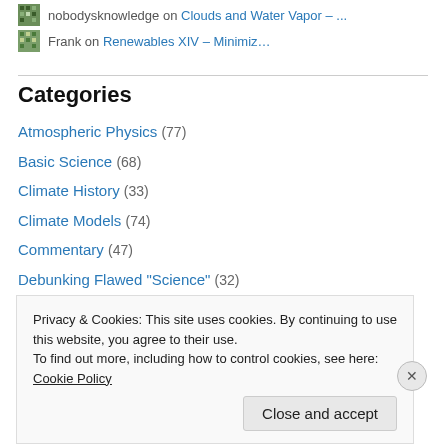nobodysknowledge on Clouds and Water Vapor – ...
Frank on Renewables XIV – Minimiz…
Categories
Atmospheric Physics (77)
Basic Science (68)
Climate History (33)
Climate Models (74)
Commentary (47)
Debunking Flawed "Science" (32)
Feedback (15)
Impacts (12)
Privacy & Cookies: This site uses cookies. By continuing to use this website, you agree to their use.
To find out more, including how to control cookies, see here: Cookie Policy
Close and accept